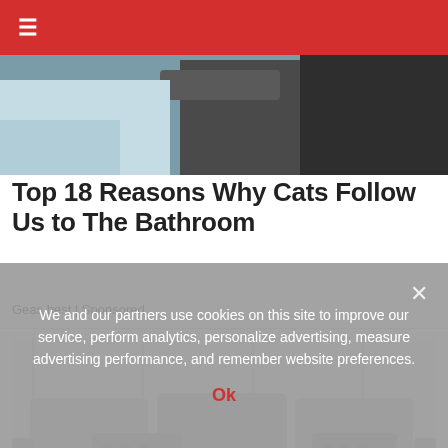≡
[Figure (photo): Partial view of a dark background image with bags/accessories, top of page]
Top 18 Reasons Why Cats Follow Us to The Bathroom
Geas.best | Sponsored
[Figure (photo): A light gray sofa with decorative patterned throw pillows against a white paneled wall background]
We and our partners use cookies on this site to improve our service, perform analytics, personalize advertising, measure advertising performance, and remember website preferences.